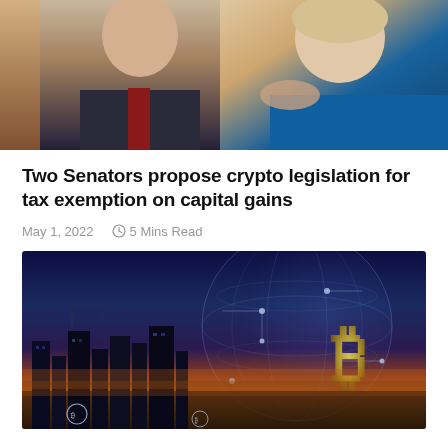[Figure (photo): Two senators at a press conference, a man in a dark suit with red tie on the left and a woman in a blue blazer pointing on the right]
Two Senators propose crypto legislation for tax exemption on capital gains
May 1, 2022   5 Mins Read
[Figure (photo): Cryptocurrency themed image showing a city skyline at dusk with a large Bitcoin symbol overlaid on a glowing globe with circuit board patterns]